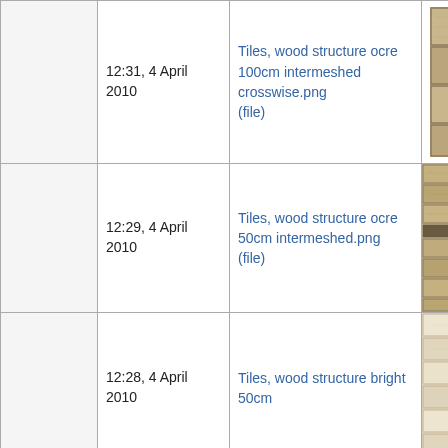|  | Date | File | Thumbnail |
| --- | --- | --- | --- |
|  | 12:31, 4 April 2010 | Tiles, wood structure ocre 100cm intermeshed crosswise.png (file) | [image] |
|  | 12:29, 4 April 2010 | Tiles, wood structure ocre 50cm intermeshed.png (file) | [image] |
|  | 12:28, 4 April 2010 | Tiles, wood structure bright 50cm ... | [image] |